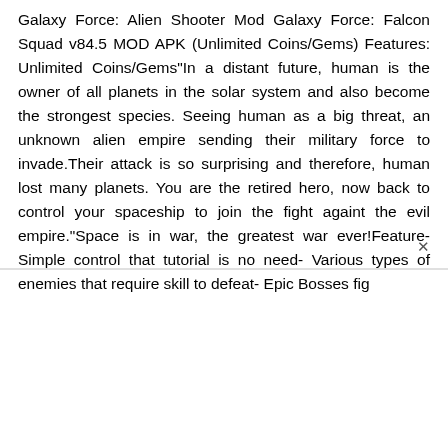Galaxy Force: Alien Shooter Mod Galaxy Force: Falcon Squad v84.5 MOD APK (Unlimited Coins/Gems) Features: Unlimited Coins/Gems"In a distant future, human is the owner of all planets in the solar system and also become the strongest species. Seeing human as a big threat, an unknown alien empire sending their military force to invade.Their attack is so surprising and therefore, human lost many planets. You are the retired hero, now back to control your spaceship to join the fight againt the evil empire."Space is in war, the greatest war ever!Feature- Simple control that tutorial is no need- Various types of enemies that require skill to defeat- Epic Bosses fig